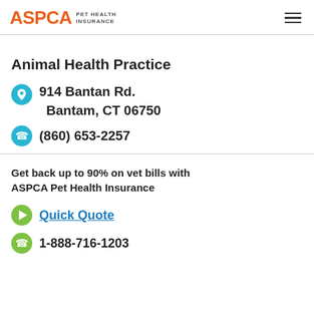ASPCA PET HEALTH INSURANCE
Animal Health Practice
914 Bantan Rd.
Bantam, CT 06750
(860) 653-2257
Get back up to 90% on vet bills with ASPCA Pet Health Insurance
Quick Quote
1-888-716-1203